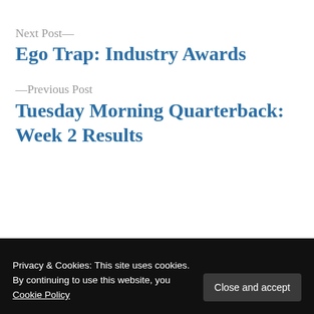Next Post—
Ego Trap: Industry Awards
—Previous Post
Tuesday Morning Quarterback: Week 2 Results
Privacy & Cookies: This site uses cookies. By continuing to use this website, you Cookie Policy  Close and accept